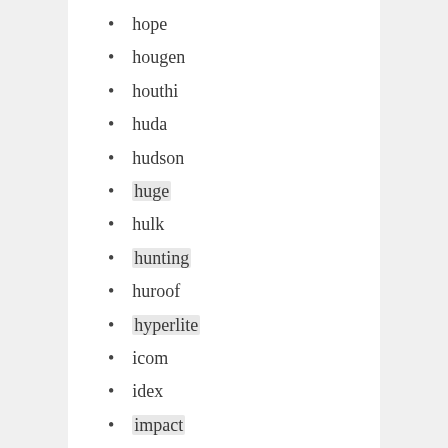hope
hougen
houthi
huda
hudson
huge
hulk
hunting
huroof
hyperlite
icom
idex
impact
imperial
inch
incredible